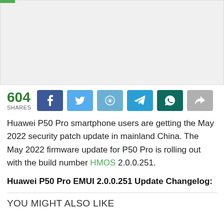[Figure (other): Advertisement placeholder area, light gray background]
604 SHARES — social share buttons: Facebook, Twitter, Reddit, Telegram, WhatsApp, Share
Huawei P50 Pro smartphone users are getting the May 2022 security patch update in mainland China. The May 2022 firmware update for P50 Pro is rolling out with the build number HMOS 2.0.0.251.
Huawei P50 Pro EMUI 2.0.0.251 Update Changelog:
YOU MIGHT ALSO LIKE